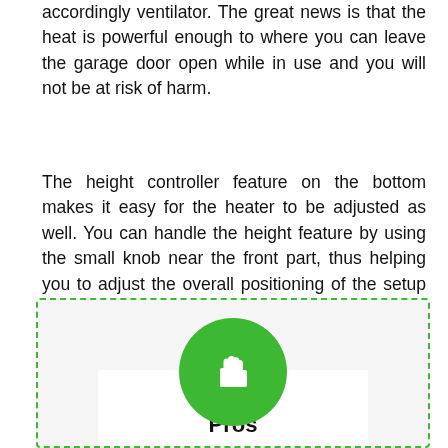accordingly ventilator. The great news is that the heat is powerful enough to where you can leave the garage door open while in use and you will not be at risk of harm.
The height controller feature on the bottom makes it easy for the heater to be adjusted as well. You can handle the height feature by using the small knob near the front part, thus helping you to adjust the overall positioning of the setup for your convenience.
[Figure (infographic): A green dashed-border box containing a large green circle with a white thumbs-up icon, and below it the bold text 'Pros'.]